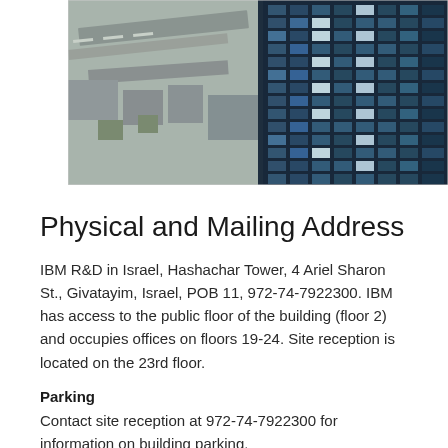[Figure (photo): Aerial/drone photograph of Hashachar Tower in Givatayim, Israel. Left portion shows urban streets, roads and lower buildings from above. Right portion shows the dark glass facade of a tall modern skyscraper with a grid of windows.]
Physical and Mailing Address
IBM R&D in Israel, Hashachar Tower, 4 Ariel Sharon St., Givatayim, Israel, POB 11, 972-74-7922300. IBM has access to the public floor of the building (floor 2) and occupies offices on floors 19-24. Site reception is located on the 23rd floor.
Parking
Contact site reception at 972-74-7922300 for information on building parking.
Phone
Calls to the Givatayim – Hashachar Tower site should